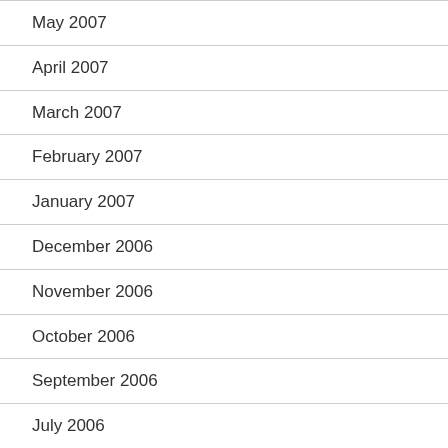May 2007
April 2007
March 2007
February 2007
January 2007
December 2006
November 2006
October 2006
September 2006
July 2006
June 2006